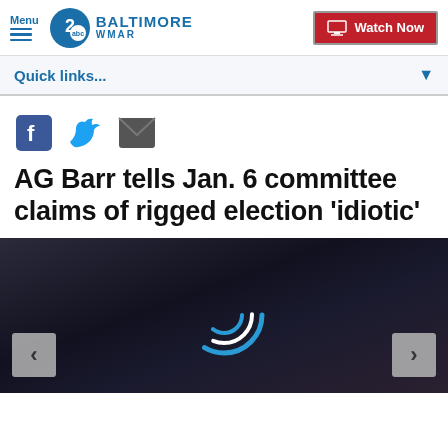Menu | WMAR 2 BALTIMORE | Watch Now
Quick links...
[Figure (screenshot): Social share icons: Facebook (blue square with white F), Twitter (blue bird), Email (dark envelope)]
AG Barr tells Jan. 6 committee claims of rigged election 'idiotic'
[Figure (photo): Dark photo of people with a loading spinner arc overlay and left/right navigation arrows]